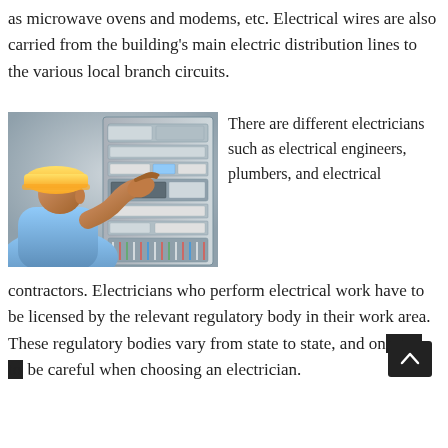as microwave ovens and modems, etc. Electrical wires are also carried from the building's main electric distribution lines to the various local branch circuits.
[Figure (photo): An electrician wearing a yellow hard hat and blue shirt working on an electrical panel/fuse box, reaching into the panel with one hand.]
There are different electricians such as electrical engineers, plumbers, and electrical contractors. Electricians who perform electrical work have to be licensed by the relevant regulatory body in their work area. These regulatory bodies vary from state to state, and one has to be careful when choosing an electrician.